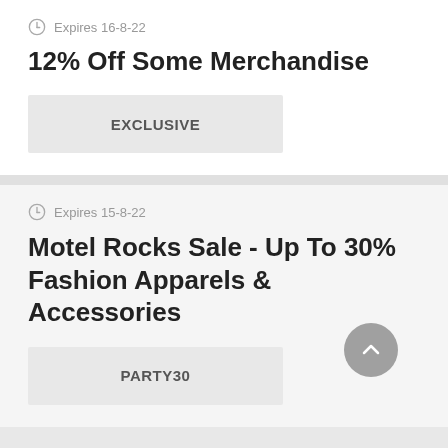Expires 16-8-22
12% Off Some Merchandise
EXCLUSIVE
Expires 15-8-22
Motel Rocks Sale - Up To 30% Fashion Apparels & Accessories
PARTY30